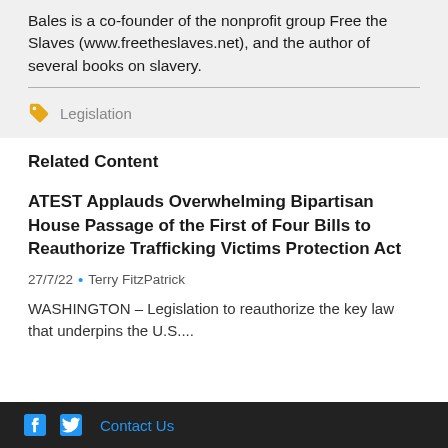Bales is a co-founder of the nonprofit group Free the Slaves (www.freetheslaves.net), and the author of several books on slavery.
Legislation
Related Content
ATEST Applauds Overwhelming Bipartisan House Passage of the First of Four Bills to Reauthorize Trafficking Victims Protection Act
27/7/22 • Terry FitzPatrick
WASHINGTON – Legislation to reauthorize the key law that underpins the U.S....
Contact Us